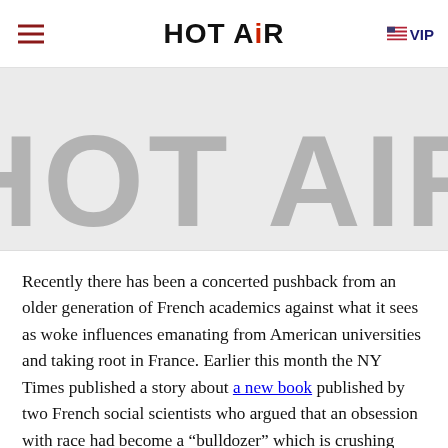HOT AIR  VIP
[Figure (logo): Large grey HOT AIR logo text as background watermark]
Recently there has been a concerted pushback from an older generation of French academics against what it sees as woke influences emanating from American universities and taking root in France. Earlier this month the NY Times published a story about a new book published by two French social scientists who argued that an obsession with race had become a “bulldozer” which is crushing other subjects.